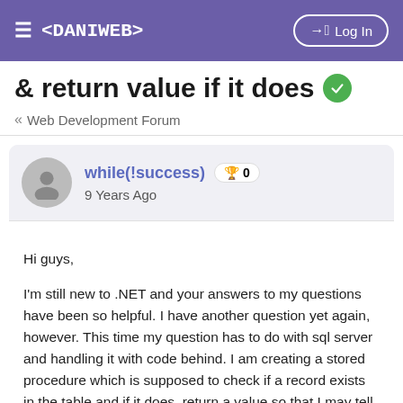≡ <DANIWEB>  → Log In
& return value if it does ✓
« Web Development Forum
while(!success)  🏆 0
9 Years Ago
Hi guys,

I'm still new to .NET and your answers to my questions have been so helpful. I have another question yet again, however. This time my question has to do with sql server and handling it with code behind. I am creating a stored procedure which is supposed to check if a record exists in the table and if it does, return a value so that I may tell the user that the record already exists. If it does not exist, and